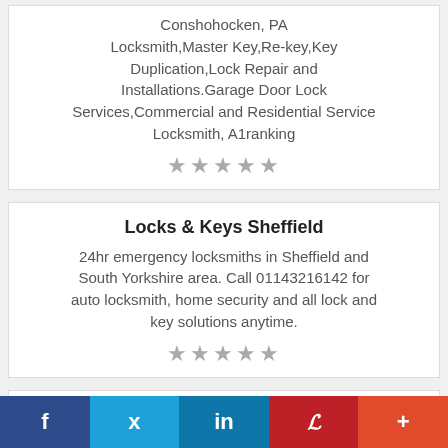Conshohocken, PA Locksmith,Master Key,Re-key,Key Duplication,Lock Repair and Installations.Garage Door Lock Services,Commercial and Residential Service Locksmith, A1ranking
★★★★★
Locks & Keys Sheffield
24hr emergency locksmiths in Sheffield and South Yorkshire area. Call 01143216142 for auto locksmith, home security and all lock and key solutions anytime.
★★★★★
Locksmith Key One Inc.
Tucson, AZ
f  ✓  in  P  +